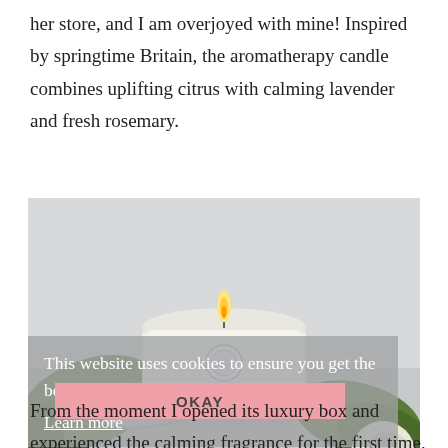her store, and I am overjoyed with mine! Inspired by springtime Britain, the aromatherapy candle combines uplifting citrus with calming lavender and fresh rosemary.
[Figure (photo): A lit white aromatherapy candle in a silver tin, surrounded by white roses and green leaves on a light background, with a cookie consent overlay and an OKAY button overlaid on the lower portion.]
This website uses cookies to ensure you get the best experience on our website. Learn more
OKAY
From the moment I opened its luxury box and experienced the calming fragrance for the first time, it was true love!